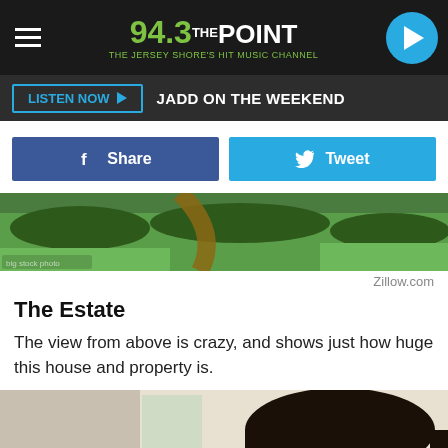94.3 THE POINT — THE JERSEY SHORE'S HIT MUSIC CHANNEL
LISTEN NOW ▶  JADD ON THE WEEKEND
Share  Tweet
[Figure (photo): Aerial view of a large estate with green lawns, trees, and a pathway]
Zillow.com
The Estate
The view from above is crazy, and shows just how huge this house and property is.
[Figure (photo): Two people: a young man with dark hair pulled back and a woman with red hair, photographed indoors]